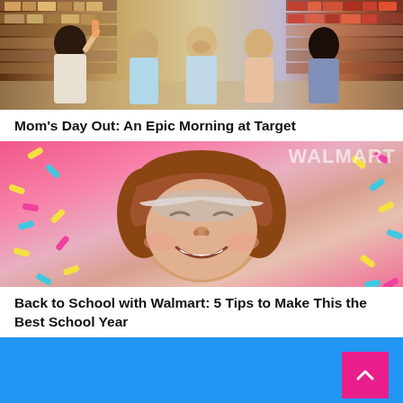[Figure (photo): Women shopping and laughing in a store aisle with shelves of products on both sides]
Mom’s Day Out: An Epic Morning at Target
[Figure (photo): A smiling child lying on pink sprinkle-patterned bedding or fabric, viewed from above with a Walmart watermark visible]
Back to School with Walmart: 5 Tips to Make This the Best School Year
[Figure (other): Blue background section with a pink/magenta scroll-to-top button with upward chevron arrow in the bottom right]